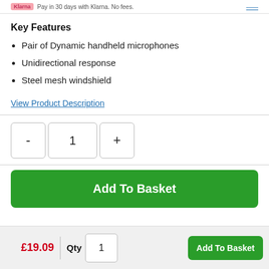Klarna | Pay in 30 days with Klarna. No fees.
Key Features
Pair of Dynamic handheld microphones
Unidirectional response
Steel mesh windshield
View Product Description
- 1 + (quantity selector)
Add To Basket
£19.09  Qty 1  Add To Basket